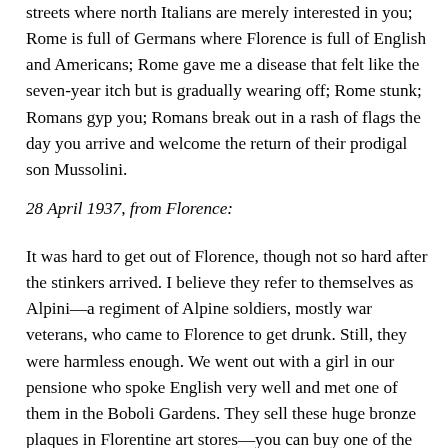streets where north Italians are merely interested in you; Rome is full of Germans where Florence is full of English and Americans; Rome gave me a disease that felt like the seven-year itch but is gradually wearing off; Rome stunk; Romans gyp you; Romans break out in a rash of flags the day you arrive and welcome the return of their prodigal son Mussolini.
28 April 1937, from Florence:
It was hard to get out of Florence, though not so hard after the stinkers arrived. I believe they refer to themselves as Alpini—a regiment of Alpine soldiers, mostly war veterans, who came to Florence to get drunk. Still, they were harmless enough. We went out with a girl in our pensione who spoke English very well and met one of them in the Boboli Gardens. They sell these huge bronze plaques in Florentine art stores—you can buy one of the Pope for 3 lire, one of Jesus Christ for 5 lire, and one of Mussolini for 10 lire. This man had one